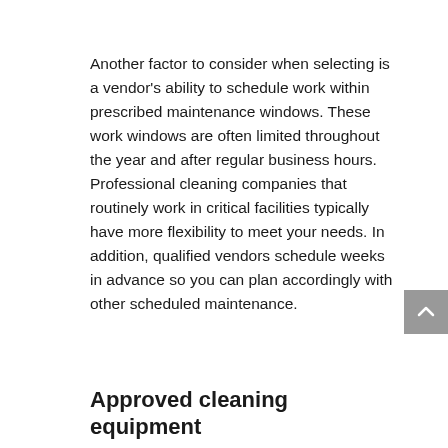Another factor to consider when selecting is a vendor's ability to schedule work within prescribed maintenance windows. These work windows are often limited throughout the year and after regular business hours. Professional cleaning companies that routinely work in critical facilities typically have more flexibility to meet your needs. In addition, qualified vendors schedule weeks in advance so you can plan accordingly with other scheduled maintenance.
Approved cleaning equipment